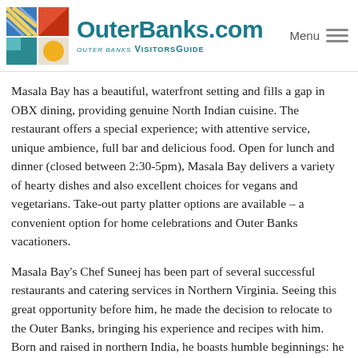[Figure (logo): OuterBanks.com logo with colorful mosaic tile graphic on left, site name and Visitors Guide subtitle, and Menu hamburger icon on right]
Masala Bay has a beautiful, waterfront setting and fills a gap in OBX dining, providing genuine North Indian cuisine. The restaurant offers a special experience; with attentive service, unique ambience, full bar and delicious food. Open for lunch and dinner (closed between 2:30-5pm), Masala Bay delivers a variety of hearty dishes and also excellent choices for vegans and vegetarians. Take-out party platter options are available – a convenient option for home celebrations and Outer Banks vacationers.
Masala Bay's Chef Suneej has been part of several successful restaurants and catering services in Northern Virginia. Seeing this great opportunity before him, he made the decision to relocate to the Outer Banks, bringing his experience and recipes with him. Born and raised in northern India, he boasts humble beginnings: he started his culinary journey in his grandmother's kitchen which developed his food philosophy of locally sourced and globally inspired Indian